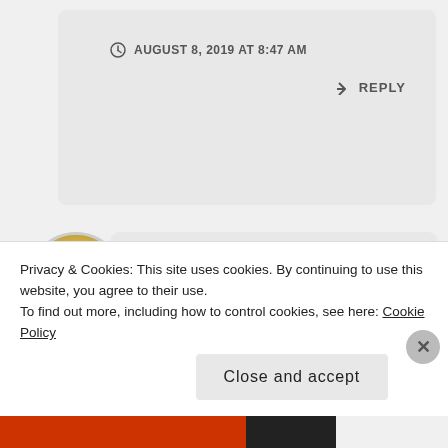AUGUST 8, 2019 AT 8:47 AM
REPLY
Yomu
Yeah when I first watched this, a long time ago, I had no clue
Privacy & Cookies: This site uses cookies. By continuing to use this website, you agree to their use.
To find out more, including how to control cookies, see here: Cookie Policy
Close and accept